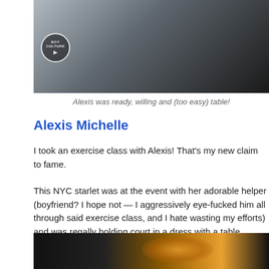[Figure (photo): Dark moody photo with a circular Boy Culture logo in the lower left corner, showing a white curved surface against dark background]
Alexis was ready, willing and (too easy) table!
Alexis Michelle
I took an exercise class with Alexis! That's my new claim to fame.
This NYC starlet was at the event with her adorable helper (boyfriend? I hope not — I aggressively eye-fucked him all through said exercise class, and I hate wasting my efforts) and was regally holding court in a dress with a table around the waist. Very Alice in Whatthefuckland, and great for a mobile autograph signing.
[Figure (photo): Dark photo with a golden/orange glittery object visible at the top, dark background]